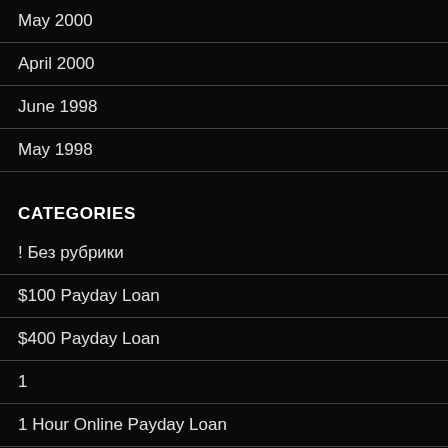May 2000
April 2000
June 1998
May 1998
CATEGORIES
! Без рубрики
$100 Payday Loan
$400 Payday Loan
1
1 Hour Online Payday Loan
100 free hookup site